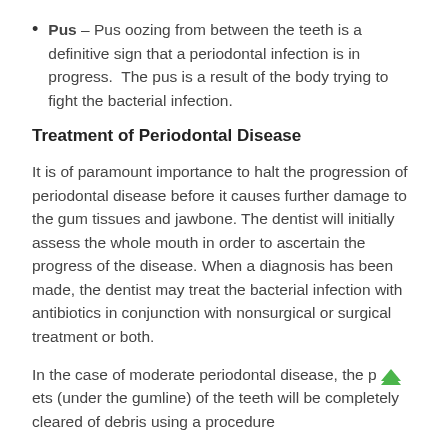Pus – Pus oozing from between the teeth is a definitive sign that a periodontal infection is in progress. The pus is a result of the body trying to fight the bacterial infection.
Treatment of Periodontal Disease
It is of paramount importance to halt the progression of periodontal disease before it causes further damage to the gum tissues and jawbone. The dentist will initially assess the whole mouth in order to ascertain the progress of the disease. When a diagnosis has been made, the dentist may treat the bacterial infection with antibiotics in conjunction with nonsurgical or surgical treatment or both.
In the case of moderate periodontal disease, the pockets (under the gumline) of the teeth will be completely cleared of debris using a procedure